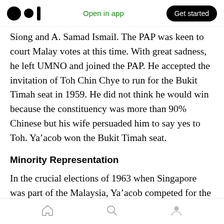Open in app | Get started
Siong and A. Samad Ismail. The PAP was keen to court Malay votes at this time. With great sadness, he left UMNO and joined the PAP. He accepted the invitation of Toh Chin Chye to run for the Bukit Timah seat in 1959. He did not think he would win because the constituency was more than 90% Chinese but his wife persuaded him to say yes to Toh. Ya’acob won the Bukit Timah seat.
Minority Representation
In the crucial elections of 1963 when Singapore was part of the Malaysia, Ya’acob competed for the Southern Islands seat. The population of the